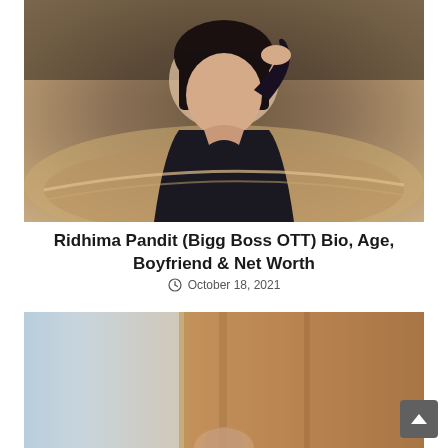[Figure (photo): Portrait photo of Ridhima Pandit wearing a dark blazer, posing with hand near face, dark olive/brown blurred background]
Ridhima Pandit (Bigg Boss OTT) Bio, Age, Boyfriend & Net Worth
October 18, 2021
[Figure (photo): Partial photo showing a light blue sky on left and a brown/terracotta architectural structure on right, with partial figure visible at bottom center]